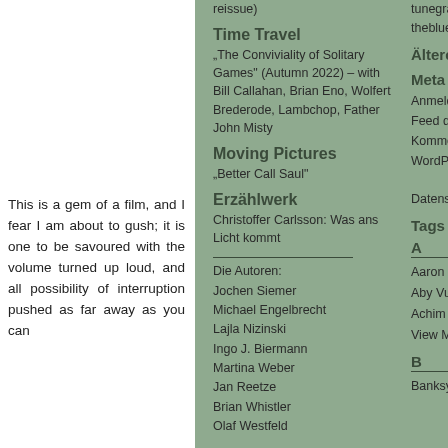This is a gem of a film, and I fear I am about to gush; it is one to be savoured with the volume turned up loud, and all possibility of interruption pushed as far away as you can
reissue)
Time Travel
„The Conviviality of Solitary Games“ (Autumn 2022) – with Bill Callahan, Brian Eno, Wolfert Brederode, Lambchop, Father John Misty
Moving Pictures
„Better Call Saul“
Erzählwerk
Christoffer Carlsson: Was ans Licht kommt
Die Autoren:
Jochen Siemer
Michael Engelbrecht
Lajla Nizinski
Ingo J. Biermann
Martina Weber
Jan Reetze
Brian Whistler
Olaf Westfeld
tunegrammofon
thebluemoment
Ältere Beiträge (Archiv)
Meta
Anmelden
Feed der Einträge
Kommentare-Feed
WordPress.org
Datenschutz
Tags
A
Aaron Parks
Aby Vulliamy
Achim Kaufmann
View More
B
Banksy